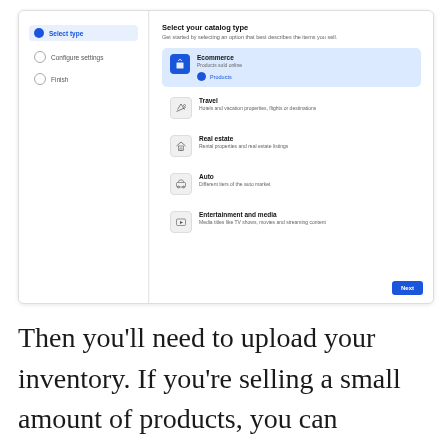[Figure (screenshot): UI screenshot of a catalog type selection wizard. Left panel shows steps: 'Select type' (active/highlighted), 'Configure settings', 'Finish'. Right panel shows 'Select your catalog type' with subtitle and five options: Ecommerce (selected, with Products sub-option), Travel, Real estate, Auto, Entertainment and media. A 'Next' button appears bottom right.]
Then you'll need to upload your inventory. If you're selling a small amount of products, you can manually upload product information to